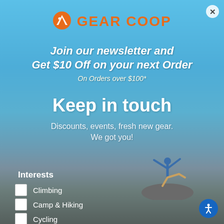[Figure (logo): Gear Coop logo with orange mountain icon and orange text GEAR COOP]
Join our newsletter and Get $10 Off on your next Order
On Orders over $100*
Keep in touch
Discounts, events, fresh new gear.
We got you!
[Figure (photo): Person standing on top of a large boulder celebrating with arms and one leg raised, blue sky background]
Interests
Climbing
Camp & Hiking
Cycling
Running
Snowsports